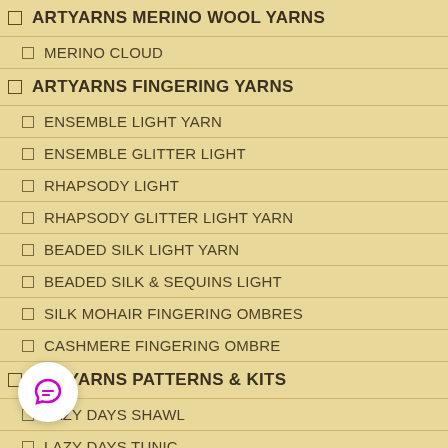ARTYARNS MERINO WOOL YARNS
MERINO CLOUD
ARTYARNS FINGERING YARNS
ENSEMBLE LIGHT YARN
ENSEMBLE GLITTER LIGHT
RHAPSODY LIGHT
RHAPSODY GLITTER LIGHT YARN
BEADED SILK LIGHT YARN
BEADED SILK & SEQUINS LIGHT
SILK MOHAIR FINGERING OMBRES
CASHMERE FINGERING OMBRE
ARTYARNS PATTERNS & KITS
LAZY DAYS SHAWL
LAZY DAYS TUNIC
GRADIENT SHAWL KIT
GRADIENT JACKET KIT